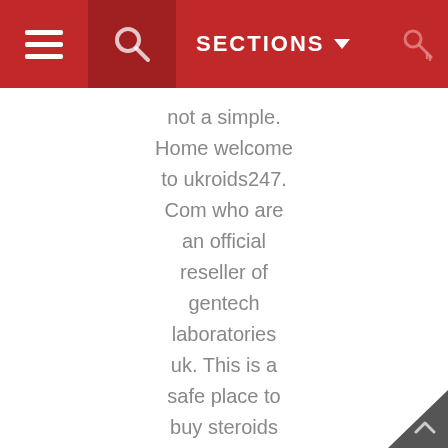SECTIONS
not a simple. Home welcome to ukroids247.Com who are an official reseller of gentech laboratories uk. This is a safe place to buy steroids online with no minimum order and fast, safe delivery! If you're looking